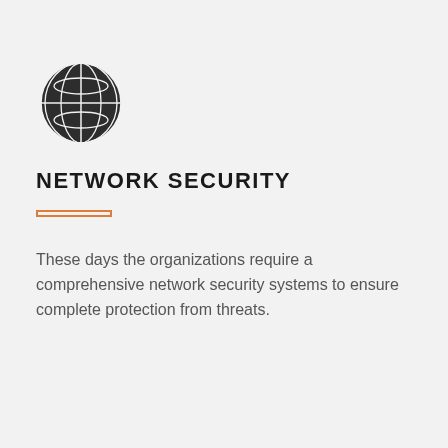[Figure (illustration): Globe/network icon — dark filled circle with grid lines forming a world globe symbol]
NETWORK SECURITY
These days the organizations require a comprehensive network security systems to ensure complete protection from threats.